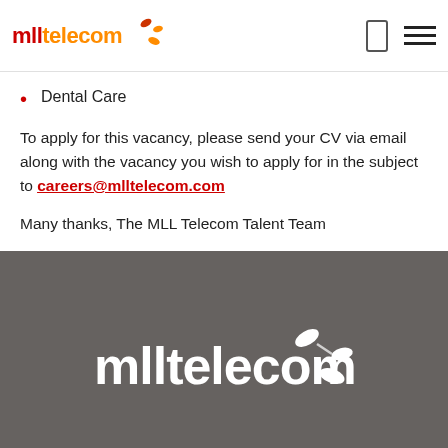[Figure (logo): MLL Telecom logo with orange/red text and dot graphic, plus phone and hamburger menu icons on right]
Dental Care
To apply for this vacancy, please send your CV via email along with the vacancy you wish to apply for in the subject to careers@mlltelecom.com
Many thanks, The MLL Telecom Talent Team
[Figure (logo): MLL Telecom white logo on dark grey background footer]